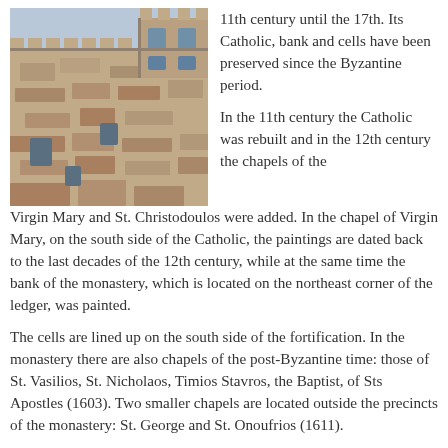[Figure (photo): Photograph of a medieval stone monastery building with bell tower, taken from a low angle looking up. The structure has battlements and multiple levels of stone masonry.]
11th century until the 17th. Its Catholic, bank and cells have been preserved since the Byzantine period.

In the 11th century the Catholic was rebuilt and in the 12th century the chapels of the Virgin Mary and St. Christodoulos were added. In the chapel of Virgin Mary, on the south side of the Catholic, the paintings are dated back to the last decades of the 12th century, while at the same time the bank of the monastery, which is located on the northeast corner of the ledger, was painted.
The cells are lined up on the south side of the fortification. In the monastery there are also chapels of the post-Byzantine time: those of St. Vasilios, St. Nicholaos, Timios Stavros, the Baptist, of Sts Apostles (1603). Two smaller chapels are located outside the precincts of the monastery: St. George and St. Onoufrios (1611).